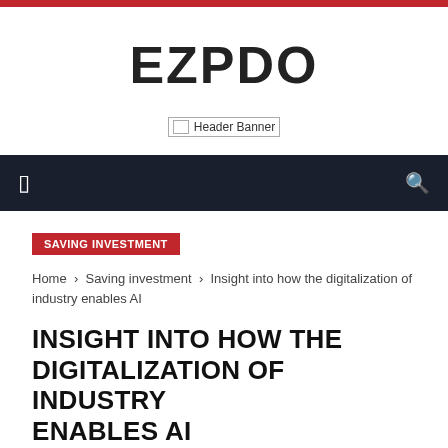EZPDO
[Figure (other): Header Banner placeholder image]
menu icon | search icon
SAVING INVESTMENT
Home › Saving investment › Insight into how the digitalization of industry enables AI
INSIGHT INTO HOW THE DIGITALIZATION OF INDUSTRY ENABLES AI